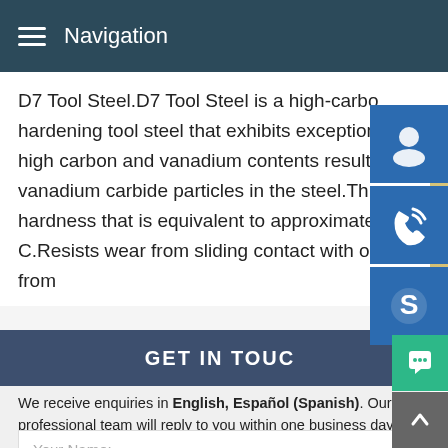Navigation
D7 Tool Steel.D7 Tool Steel is a high-carbo hardening tool steel that exhibits exception high carbon and vanadium contents result vanadium carbide particles in the steel.Th hardness that is equivalent to approximate C.Resists wear from sliding contact with o from
[Figure (photo): Customer service woman wearing headset, smiling]
[Figure (infographic): Three blue sidebar icon buttons: customer support, phone/call, Skype]
MANUAL SE QUOTING O Email: bsteel1@163.com
GET IN TOUC
We receive enquiries in English, Español (Spanish). Our professional team will reply to you within one business day. Please feel FREE to contact us!
Your Name: